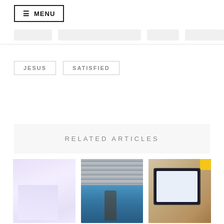≡ MENU
JESUS
SATISFIED
RELATED ARTICLES
[Figure (photo): Soft purple/lavender abstract image thumbnail]
[Figure (photo): Photo of a woman standing in front of a graffiti-covered metal shutter]
[Figure (photo): Photo of a tablet/laptop device on a wooden surface with a yellow accent]